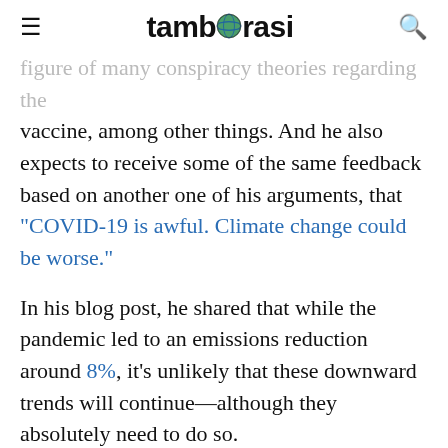tamborasi
figure of many conspiracy theories regarding the vaccine, among other things. And he also expects to receive some of the same feedback based on another one of his arguments, that “COVID-19 is awful. Climate change could be worse.”
In his blog post, he shared that while the pandemic led to an emissions reduction around 8%, it’s unlikely that these downward trends will continue—although they absolutely need to do so.
If we measure the coronavirus pandemic’s impact in terms of lives lost, we can expect that by 2060, climate change will be just as problematic as